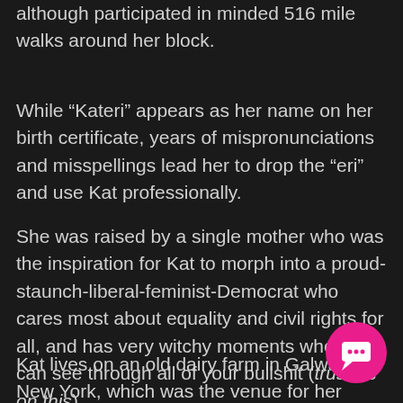although participated in minded 516 mile walks around her block.
While “Kateri” appears as her name on her birth certificate, years of mispronunciations and misspellings lead her to drop the “eri” and use Kat professionally.
She was raised by a single mother who was the inspiration for Kat to morph into a proud-staunch-liberal-feminist-Democrat who cares most about equality and civil rights for all, and has very witchy moments when she can see through all of your bullshit (trust us on this).
Kat lives on an old dairy farm in Galway, New York, which was the venue for her recent non-